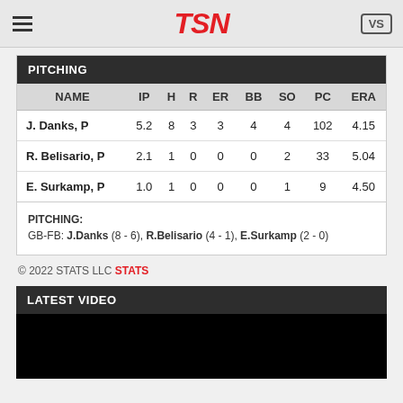TSN
PITCHING
| NAME | IP | H | R | ER | BB | SO | PC | ERA |
| --- | --- | --- | --- | --- | --- | --- | --- | --- |
| J. Danks, P | 5.2 | 8 | 3 | 3 | 4 | 4 | 102 | 4.15 |
| R. Belisario, P | 2.1 | 1 | 0 | 0 | 0 | 2 | 33 | 5.04 |
| E. Surkamp, P | 1.0 | 1 | 0 | 0 | 0 | 1 | 9 | 4.50 |
PITCHING:
GB-FB: J.Danks (8 - 6), R.Belisario (4 - 1), E.Surkamp (2 - 0)
© 2022 STATS LLC STATS
LATEST VIDEO
[Figure (other): Black video placeholder]